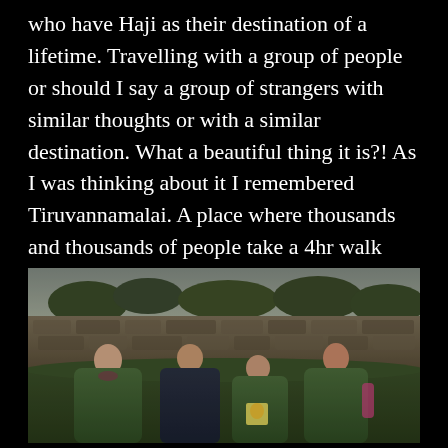who have Haji as their destination of a lifetime. Travelling with a group of people or should I say a group of strangers with similar thoughts or with a similar destination. What a beautiful thing it is?! As I was thinking about it I remembered Tiruvannamalai. A place where thousands and thousands of people take a 4hr walk around the hill, under the light of the full moon.
[Figure (photo): Group of four people wearing green rain ponchos standing in front of a mossy stone wall outdoors, smiling at the camera. One person holds a sign with a yellow shell symbol (Camino de Santiago).]